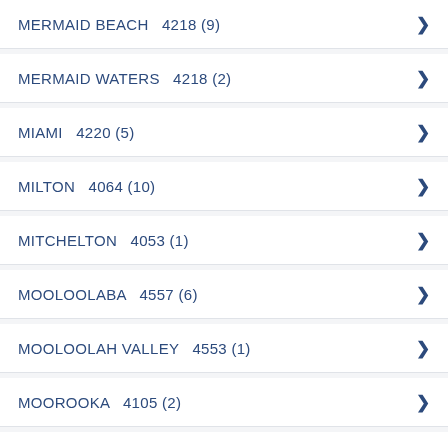MERMAID BEACH   4218 (9)
MERMAID WATERS   4218 (2)
MIAMI   4220 (5)
MILTON   4064 (10)
MITCHELTON   4053 (1)
MOOLOOLABA   4557 (6)
MOOLOOLAH VALLEY   4553 (1)
MOOROOKA   4105 (2)
MORAYFIELD   4506 (4)